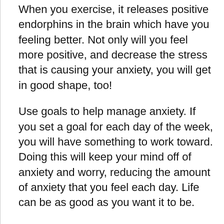When you exercise, it releases positive endorphins in the brain which have you feeling better. Not only will you feel more positive, and decrease the stress that is causing your anxiety, you will get in good shape, too!
Use goals to help manage anxiety. If you set a goal for each day of the week, you will have something to work toward. Doing this will keep your mind off of anxiety and worry, reducing the amount of anxiety that you feel each day. Life can be as good as you want it to be.
Make a point to set daily goals, every day. If your day has a goal, then you're able to stay focused on it instead of your anxiety. When you focus, you keep your mind busy as well as